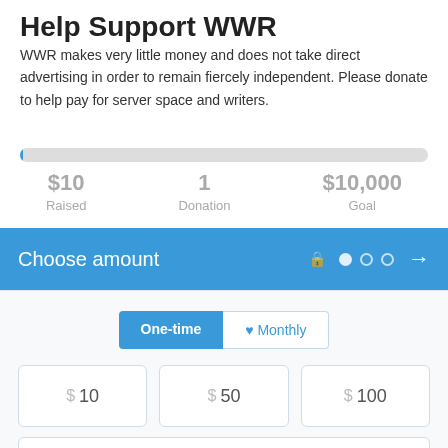Help Support WWR
WWR makes very little money and does not take direct advertising in order to remain fiercely independent. Please donate to help pay for server space and writers.
[Figure (other): Progress bar showing fundraising progress, nearly empty, with a small blue fill on the left.]
$10 Raised   1 Donation   $10,000 Goal
Choose amount
One-time | Monthly
$ 10   $ 50   $ 100